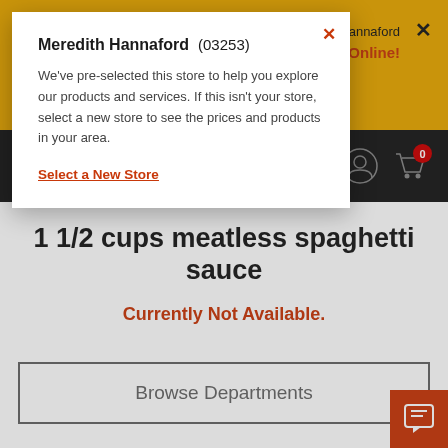[Figure (screenshot): Hannaford grocery website screenshot showing a popup modal. The popup reads 'Meredith Hannaford (03253)' with body text about pre-selected store. A 'Select a New Store' link is shown. Behind the popup is a yellow/gold header bar, dark navigation bar with user and cart icons, product title '1 1/2 cups meatless spaghetti sauce', 'Currently Not Available.' text, a 'Browse Departments' button, and a red chat button in the bottom right.]